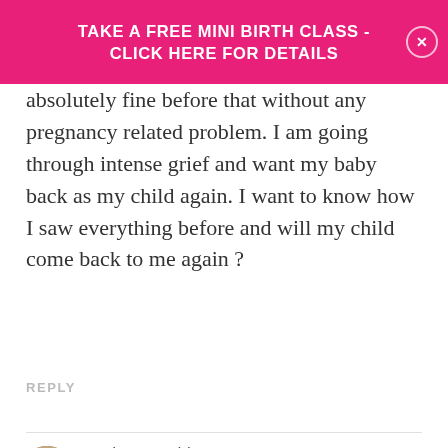TAKE A FREE MINI BIRTH CLASS - CLICK HERE FOR DETAILS
absolutely fine before that without any pregnancy related problem. I am going through intense grief and want my baby back as my child again. I want to know how I saw everything before and will my child come back to me again ?
REPLY
Marie Berwald
February 3, 2014, 3:55 pm
Hi Meenu
I believe we know more than we realize – perhaps that explains the dream. I hope your child's soul will return to you!